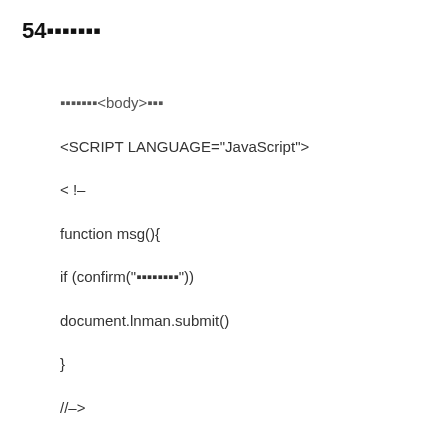54■■■■■■■
■■■■■■■<body>■■■
<SCRIPT LANGUAGE="JavaScript">
< !–
function msg(){
if (confirm("■■■■■■■■"))
document.lnman.submit()
}
//–>